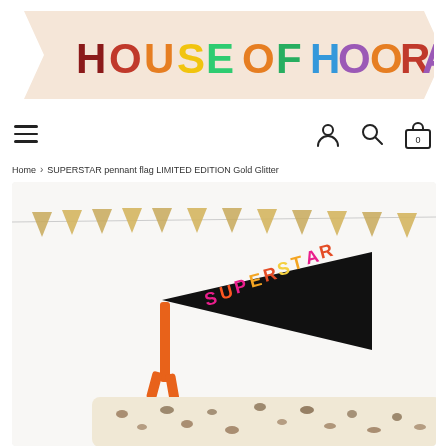[Figure (logo): House of Hooray banner logo with colorful rainbow letters on a peach/cream pennant banner shape]
[Figure (screenshot): Navigation bar with hamburger menu icon on left, and user account, search, and shopping bag (0) icons on right]
Home > SUPERSTAR pennant flag LIMITED EDITION Gold Glitter
[Figure (photo): Photo of a black SUPERSTAR pennant flag with colorful letters (pink, orange, yellow, red) and orange ribbon detail, with gold glitter triangle bunting garland in background and leopard print pillow in foreground]